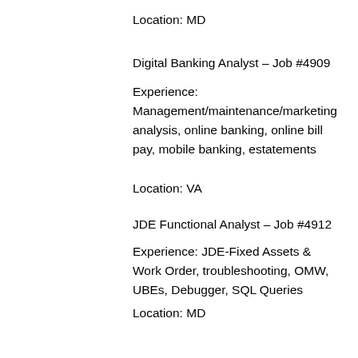Location: MD
Digital Banking Analyst – Job #4909
Experience: Management/maintenance/marketing analysis, online banking, online bill pay, mobile banking, estatements
Location: VA
JDE Functional Analyst – Job #4912
Experience: JDE-Fixed Assets & Work Order, troubleshooting, OMW, UBEs, Debugger, SQL Queries
Location: MD
UX/Graphic Design
Digital Strategy & Design Manager – Job #4941
Experience: Digital strategy